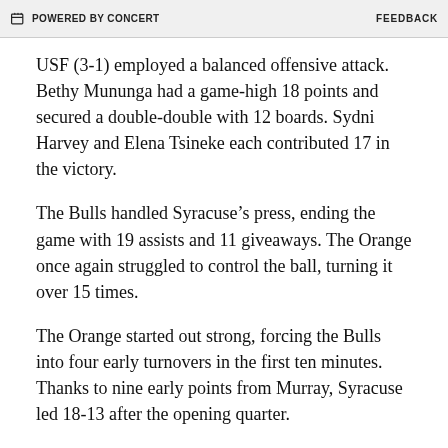POWERED BY CONCERT   FEEDBACK
USF (3-1) employed a balanced offensive attack. Bethy Mununga had a game-high 18 points and secured a double-double with 12 boards. Sydni Harvey and Elena Tsineke each contributed 17 in the victory.
The Bulls handled Syracuse’s press, ending the game with 19 assists and 11 giveaways. The Orange once again struggled to control the ball, turning it over 15 times.
The Orange started out strong, forcing the Bulls into four early turnovers in the first ten minutes. Thanks to nine early points from Murray, Syracuse led 18-13 after the opening quarter.